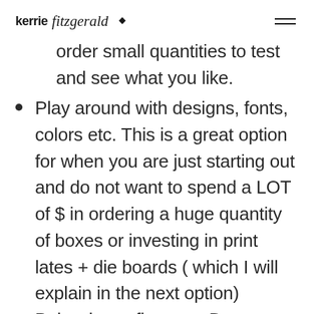kerrie fitzgerald
order small quantities to test and see what you like.
Play around with designs, fonts, colors etc. This is a great option for when you are just starting out and do not want to spend a LOT of $ in ordering a huge quantity of boxes or investing in print lates + die boards ( which I will explain in the next option)
Below is my first ever Dapper Dog